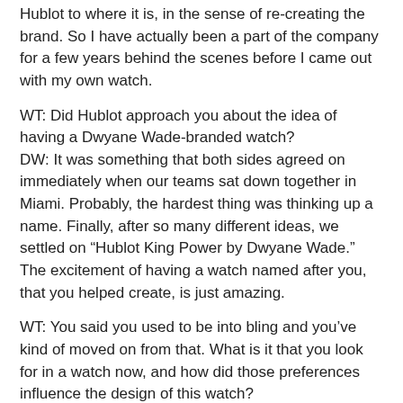Hublot to where it is, in the sense of re-creating the brand. So I have actually been a part of the company for a few years behind the scenes before I came out with my own watch.
WT: Did Hublot approach you about the idea of having a Dwyane Wade-branded watch?
DW: It was something that both sides agreed on immediately when our teams sat down together in Miami. Probably, the hardest thing was thinking up a name. Finally, after so many different ideas, we settled on “Hublot King Power by Dwyane Wade.” The excitement of having a watch named after you, that you helped create, is just amazing.
WT: You said you used to be into bling and you’ve kind of moved on from that. What is it that you look for in a watch now, and how did those preferences influence the design of this watch?
DW: I think for me, as someone who puts on a jersey and also as someone who dresses up in a suit a lot of the time, I wanted a watch that was versatile. I think of myself